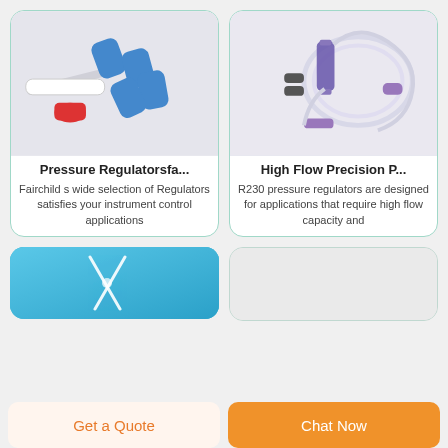[Figure (photo): Medical pressure regulator connectors with blue and red caps on white background]
[Figure (photo): High flow precision pressure regulator tubing set with purple components on white background]
Pressure Regulatorsfa...
Fairchild s wide selection of Regulators satisfies your instrument control applications
High Flow Precision P...
R230 pressure regulators are designed for applications that require high flow capacity and
[Figure (photo): Medical needles on blue background (partial view)]
[Figure (photo): White/grey card placeholder (partial view)]
Get a Quote
Chat Now